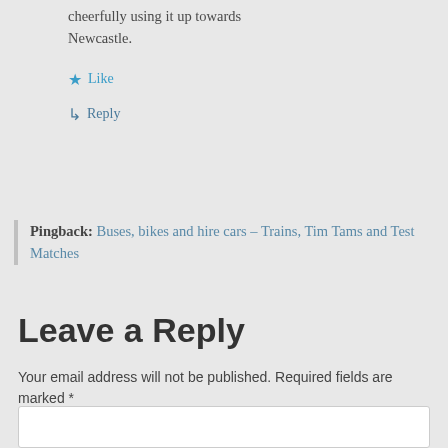cheerfully using it up towards Newcastle.
★ Like
↳ Reply
Pingback:  Buses, bikes and hire cars – Trains, Tim Tams and Test Matches
Leave a Reply
Your email address will not be published. Required fields are marked *
Comment *